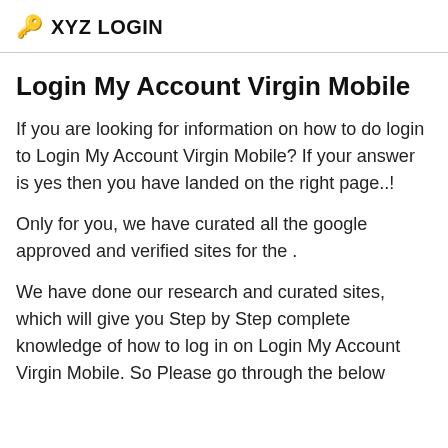🔑 XYZ LOGIN
Login My Account Virgin Mobile
If you are looking for information on how to do login to Login My Account Virgin Mobile? If your answer is yes then you have landed on the right page..!
Only for you, we have curated all the google approved and verified sites for the .
We have done our research and curated sites, which will give you Step by Step complete knowledge of how to log in on Login My Account Virgin Mobile. So Please go through the below